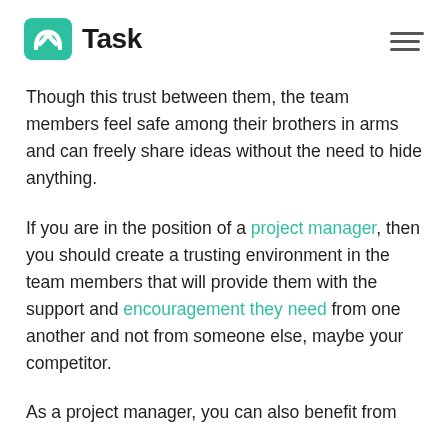nTask (logo) | hamburger menu
Though this trust between them, the team members feel safe among their brothers in arms and can freely share ideas without the need to hide anything.
If you are in the position of a project manager, then you should create a trusting environment in the team members that will provide them with the support and encouragement they need from one another and not from someone else, maybe your competitor.
As a project manager, you can also benefit from